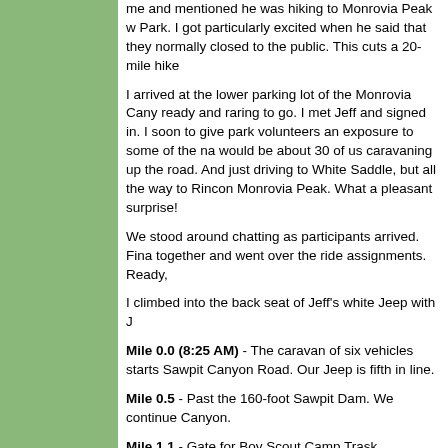me and mentioned he was hiking to Monrovia Peak w Park. I got particularly excited when he said that they normally closed to the public. This cuts a 20-mile hike
I arrived at the lower parking lot of the Monrovia Cany ready and raring to go. I met Jeff and signed in. I soon to give park volunteers an exposure to some of the na would be about 30 of us caravaning up the road. And just driving to White Saddle, but all the way to Rincon Monrovia Peak. What a pleasant surprise!
We stood around chatting as participants arrived. Fina together and went over the ride assignments. Ready,
I climbed into the back seat of Jeff's white Jeep with J
Mile 0.0 (8:25 AM) - The caravan of six vehicles starts Sawpit Canyon Road. Our Jeep is fifth in line.
Mile 0.5 - Past the 160-foot Sawpit Dam. We continue Canyon.
Mile 1.1 - Gate for Boy Scout Camp Trask. Pavement
Mile 1.3 (8:35) - Locked Gate - dubbed "Big Buertha" crackles as a gal in the lead vehicle points out items o purple lupin, a young doe standing 50 feet from the ro
Mile 1.5 (est.) - The road turns south into Vassar Cany spring. Abundant poison oak throughout the drive.